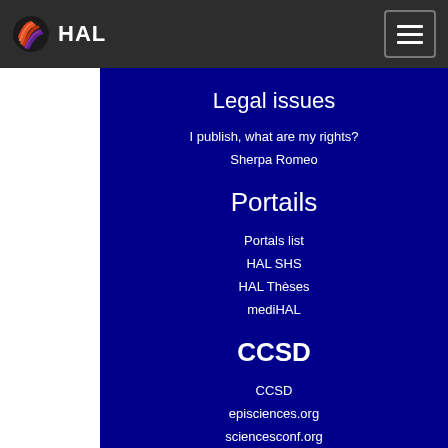HAL
Legal issues
I publish, what are my rights?
Sherpa Romeo
Portails
Portals list
HAL SHS
HAL Thèses
mediHAL
CCSD
CCSD
episciences.org
sciencesconf.org